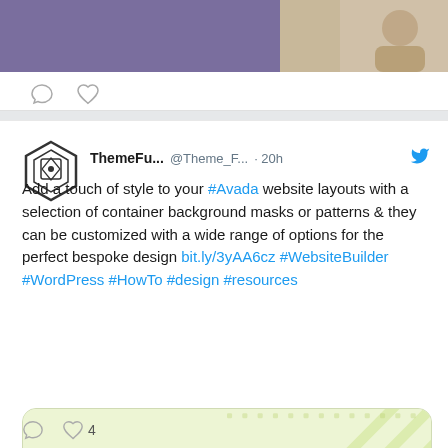[Figure (screenshot): Top portion of a Twitter/social media feed showing bottom of a previous tweet card with comment and heart icons]
ThemeFu... @Theme_F... · 20h
Add a touch of style to your #Avada website layouts with a selection of container background masks or patterns & they can be customized with a wide range of options for the perfect bespoke design bit.ly/3yAA6cz #WebsiteBuilder #WordPress #HowTo #design #resources
[Figure (screenshot): Avada logo card with green diagonal pattern background showing the Avada triangle logo and wordmark 'Avada:' with a scroll-to-top button]
4